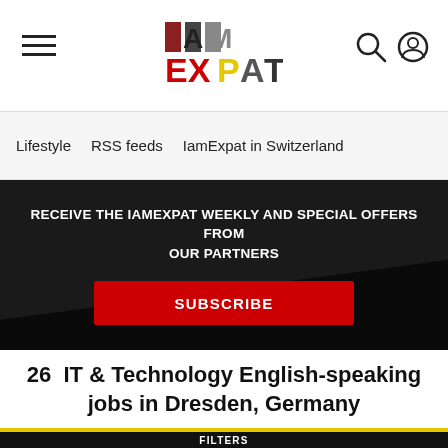IAmExpat — hamburger menu, logo, search and profile icons
Lifestyle   RSS feeds   IamExpat in Switzerland
RECEIVE THE IAMEXPAT WEEKLY AND SPECIAL OFFERS FROM OUR PARTNERS
SUBSCRIBE
26  IT & Technology English-speaking jobs in Dresden, Germany
FILTERS